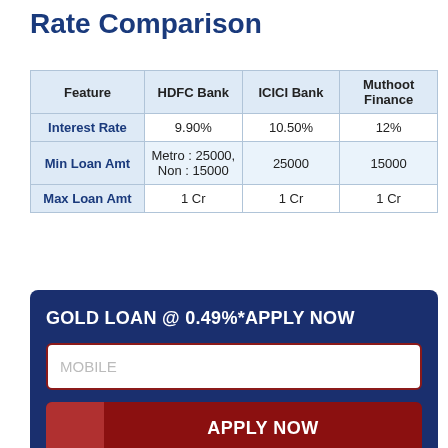Rate Comparison
| Feature | HDFC Bank | ICICI Bank | Muthoot Finance |
| --- | --- | --- | --- |
| Interest Rate | 9.90% | 10.50% | 12% |
| Min Loan Amt | Metro : 25000, Non : 15000 | 25000 | 15000 |
| Max Loan Amt | 1 Cr | 1 Cr | 1 Cr |
GOLD LOAN @ 0.49%*APPLY NOW
MOBILE
APPLY NOW
2%, Nil foreclosure